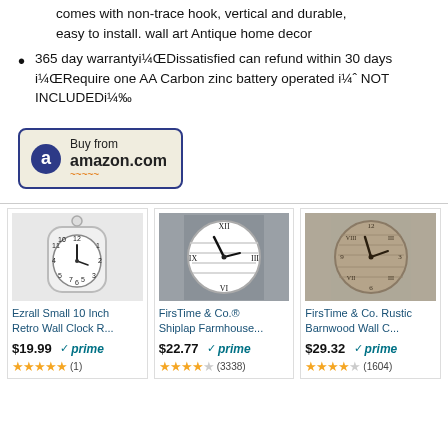comes with non-trace hook, vertical and durable, easy to install. wall art Antique home decor
365 day warrantyi¼ŒDissatisfied can refund within 30 days i¼ŒRequire one AA Carbon zinc battery operated i¼ˆ NOT INCLUDEDi¼‰
[Figure (logo): Buy from amazon.com button with Amazon logo and smile]
[Figure (photo): Ezrall Small 10 Inch Retro Wall Clock product image]
Ezrall Small 10 Inch Retro Wall Clock R...
$19.99 ✓prime ★★★★★ (1)
[Figure (photo): FirsTime & Co.® Shiplap Farmhouse product image]
FirsTime & Co.® Shiplap Farmhouse...
$22.77 ✓prime ★★★★½ (3338)
[Figure (photo): FirsTime & Co. Rustic Barnwood Wall Clock product image]
FirsTime & Co. Rustic Barnwood Wall C...
$29.32 ✓prime ★★★★½ (1604)